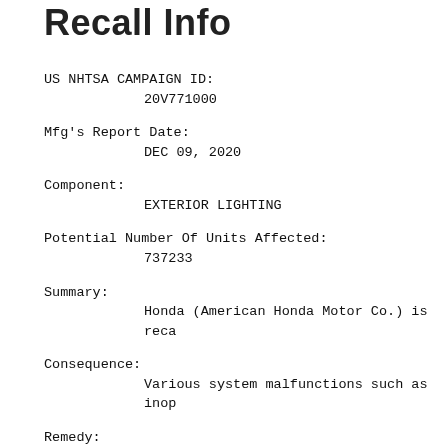Recall Info
US NHTSA CAMPAIGN ID:
        20V771000
Mfg's Report Date:
        DEC 09, 2020
Component:
        EXTERIOR LIGHTING
Potential Number Of Units Affected:
        737233
Summary:
        Honda (American Honda Motor Co.) is reca
Consequence:
        Various system malfunctions such as inop
Remedy:
        Honda will notify owners, and dealers wi